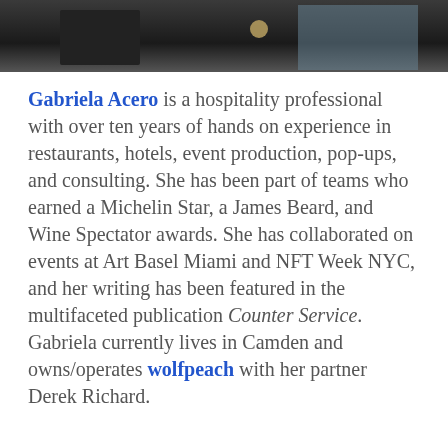[Figure (photo): Cropped photo of a person wearing dark clothing, partially visible from chest down, with a ring visible on one hand and a light blue background on the right side.]
Gabriela Acero is a hospitality professional with over ten years of hands on experience in restaurants, hotels, event production, pop-ups, and consulting. She has been part of teams who earned a Michelin Star, a James Beard, and Wine Spectator awards. She has collaborated on events at Art Basel Miami and NFT Week NYC, and her writing has been featured in the multifaceted publication Counter Service. Gabriela currently lives in Camden and owns/operates wolfpeach with her partner Derek Richard.